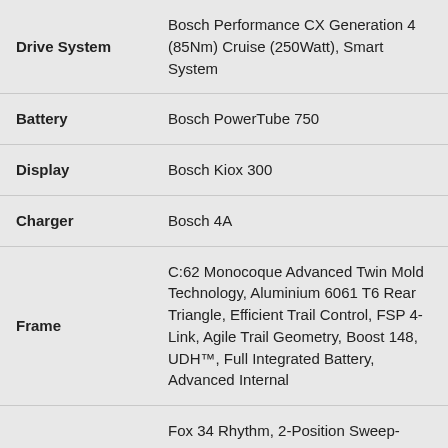| Attribute | Value |
| --- | --- |
| Drive System | Bosch Performance CX Generation 4 (85Nm) Cruise (250Watt), Smart System |
| Battery | Bosch PowerTube 750 |
| Display | Bosch Kiox 300 |
| Charger | Bosch 4A |
| Frame | C:62 Monocoque Advanced Twin Mold Technology, Aluminium 6061 T6 Rear Triangle, Efficient Trail Control, FSP 4-Link, Agile Trail Geometry, Boost 148, UDH™, Full Integrated Battery, Advanced Internal |
|  | Fox 34 Rhythm, 2-Position Sweep- |